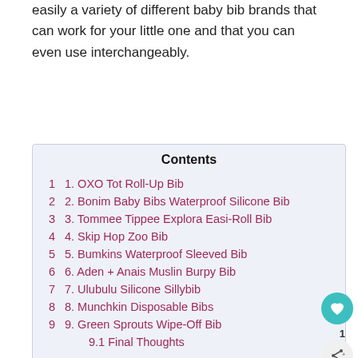easily a variety of different baby bib brands that can work for your little one and that you can even use interchangeably.
Contents
1 1. OXO Tot Roll-Up Bib
2 2. Bonim Baby Bibs Waterproof Silicone Bib
3 3. Tommee Tippee Explora Easi-Roll Bib
4 4. Skip Hop Zoo Bib
5 5. Bumkins Waterproof Sleeved Bib
6 6. Aden + Anais Muslin Burpy Bib
7 7. Ulubulu Silicone Sillybib
8 8. Munchkin Disposable Bibs
9 9. Green Sprouts Wipe-Off Bib
9.1 Final Thoughts